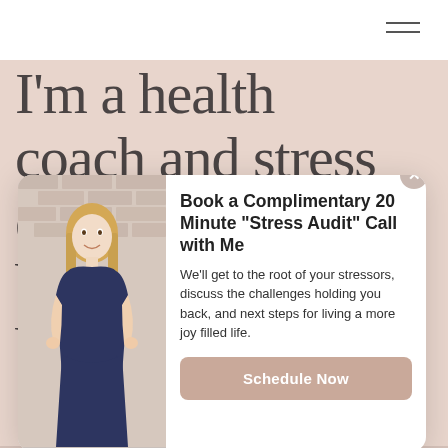I'm a health coach and stress ex... bu... ba...
[Figure (screenshot): Modal popup on a health coach website. Left side shows a photo of a blonde woman in a navy blue sleeveless dress standing against a brick wall, smiling with hands on hips. Right side contains a call-to-action heading and body text with a button.]
Book a Complimentary 20 Minute "Stress Audit" Call with Me
We'll get to the root of your stressors, discuss the challenges holding you back, and next steps for living a more joy filled life.
Schedule Now